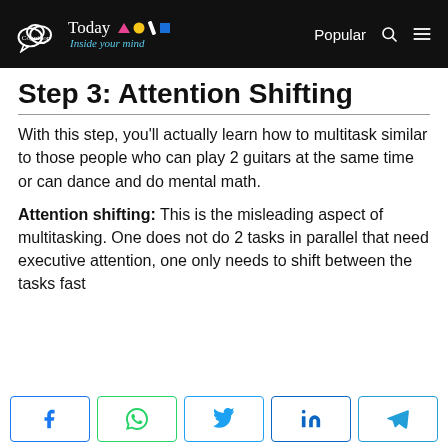Cognition Today — Inside your mind | Popular
Step 3: Attention Shifting
With this step, you'll actually learn how to multitask similar to those people who can play 2 guitars at the same time or can dance and do mental math.
Attention shifting: This is the misleading aspect of multitasking. One does not do 2 tasks in parallel that need executive attention, one only needs to shift between the tasks fast
[Figure (other): Social share buttons: Facebook, WhatsApp, Twitter, LinkedIn, Telegram]